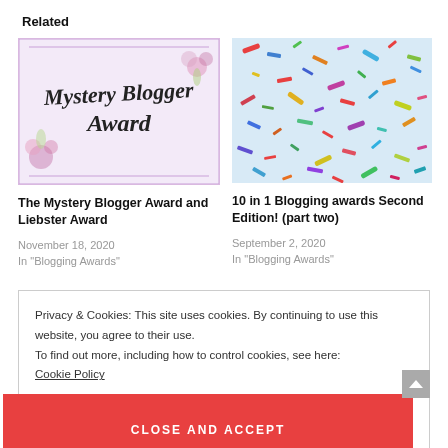Related
[Figure (illustration): Mystery Blogger Award logo — light purple/lavender background with floral decorations and script text reading 'Mystery Blogger Award']
[Figure (photo): Colorful confetti scattered on a light blue background]
The Mystery Blogger Award and Liebster Award
November 18, 2020
In "Blogging Awards"
10 in 1 Blogging awards Second Edition! (part two)
September 2, 2020
In "Blogging Awards"
Privacy & Cookies: This site uses cookies. By continuing to use this website, you agree to their use.
To find out more, including how to control cookies, see here:
Cookie Policy
CLOSE AND ACCEPT